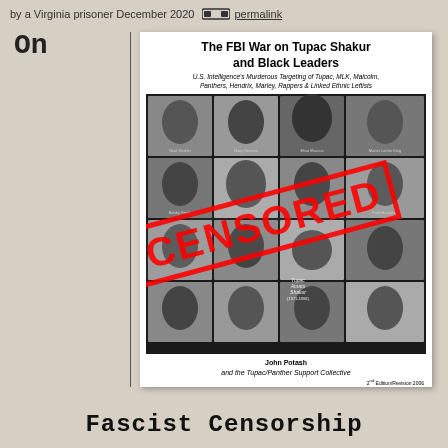by a Virginia prisoner December 2020  permalink
On
[Figure (photo): Book cover of 'The FBI War on Tupac Shakur and Black Leaders' by John Potash and the Tupac/Panther Support Collective, featuring a black-and-white photo collage of various Black leaders and activists with a large red CENSORED stamp overlaid diagonally across the cover. Subtitle: U.S. Intelligence's Murderous Targeting of Tupac, MLK, Malcolm, Panthers, Hendrix, Marley, Rappers & Linked Ethnic Leftists. 2nd Edition/Revision 2006.]
Fascist Censorship